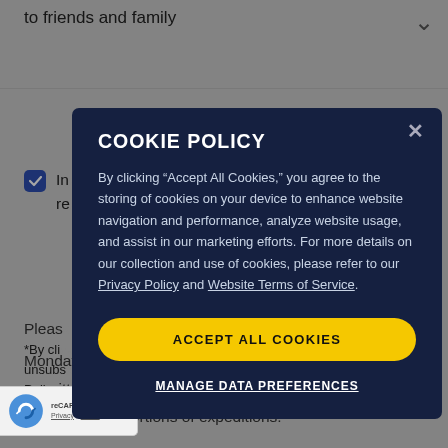to friends and family
In [partially obscured] ant to re[partially obscured]
*By cli[cking] Exped[ition] unsubs[cribe] [Pr]ivacy Policy.
COOKIE POLICY
By clicking “Accept All Cookies,” you agree to the storing of cookies on your device to enhance website navigation and performance, analyze website usage, and assist in our marketing efforts. For more details on our collection and use of cookies, please refer to our Privacy Policy and Website Terms of Service.
ACCEPT ALL COOKIES
MANAGE DATA PREFERENCES
Please[partially obscured]
Monday-Friday, during normal business hours.
re written onboard the ship only and do not apply
to land-based portions of expeditions.